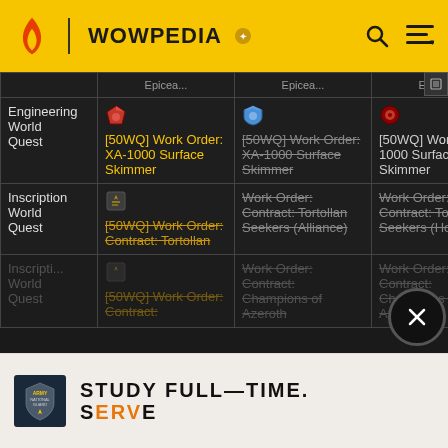WOWPEDIA
|  | Column1 | Column2 | Column3 |
| --- | --- | --- | --- |
| Engineering World Quest | [50WQ] Work Order: XA-1000 Surface Skimmer | [50WQ] Work Order: XA-1000 Surface Skimmer (strikethrough) | [50WQ] Work Order: XA-1000 Surface Skimmer |
| Inscription World Quest | [50WQ] Work Order: Contract: Tortollan (strikethrough) | Work Order: Contract: Tortollan Seekers (Alliance) (strikethrough) | Work Order: Contract: Tortollan Seekers (Horde) (strikethrough) |
| Inscription World Quest | [50WQ] Work Order: Contract: (strikethrough) | Work Order: Contract: Champions of Azeroth (strikethrough) | Work Order: Contract: Champions of Azeroth (strikethrough) |
[Figure (advertisement): Army National Guard ad: STUDY FULL-TIME. SERVE]
[Figure (other): Close button (X circle)]